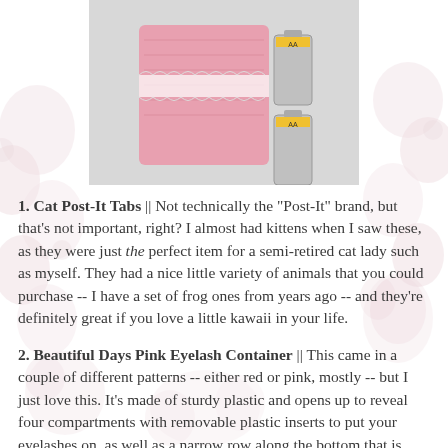[Figure (photo): Photo of a pink knitted/crocheted pouch with white lace trim and two AA batteries beside it, on a light grey background]
1. Cat Post-It Tabs || Not technically the "Post-It" brand, but that's not important, right? I almost had kittens when I saw these, as they were just the perfect item for a semi-retired cat lady such as myself. They had a nice little variety of animals that you could purchase -- I have a set of frog ones from years ago -- and they're definitely great if you love a little kawaii in your life.
2. Beautiful Days Pink Eyelash Container || This came in a couple of different patterns -- either red or pink, mostly -- but I just love this. It's made of sturdy plastic and opens up to reveal four compartments with removable plastic inserts to put your eyelashes on, as well as a narrow row along the bottom that is great for storing those little bottles of lash glue. I do kind of wish that I'd bought more than one, because I have more than four pairs of lashes (and two are missing, because I am not the most organized person) and the